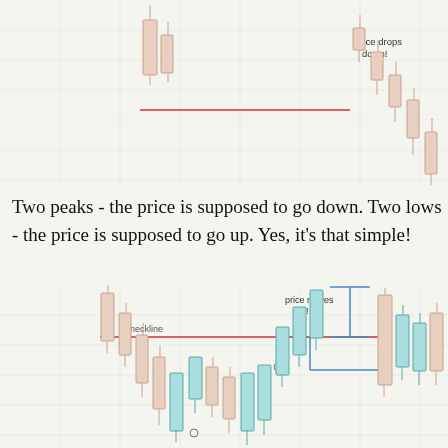[Figure (illustration): Top portion of a candlestick chart showing a double-top pattern with a blue vertical measurement line labeled 'price drops down!' and a horizontal neckline. Bearish candles follow after the neckline break.]
Two peaks - the price is supposed to go down. Two lows - the price is supposed to go up. Yes, it's that simple!
[Figure (illustration): Candlestick chart showing a double-bottom (W) pattern with a red horizontal neckline, a blue vertical measurement line labeled 'price moves up!', label 'neckline', and bullish candles rising after the breakout. Teal/cyan bullish candles and pink/beige bearish candles shown.]